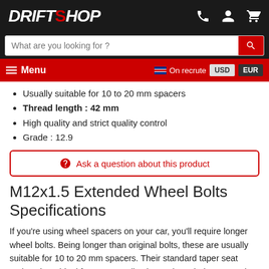DRIFTSHOP — website header with logo, phone, account, cart icons, search bar, and navigation menu
Usually suitable for 10 to 20 mm spacers
Thread length : 42 mm
High quality and strict quality control
Grade : 12.9
Ask a question about this product
M12x1.5 Extended Wheel Bolts Specifications
If you're using wheel spacers on your car, you'll require longer wheel bolts. Being longer than original bolts, these are usually suitable for 10 to 20 mm spacers. Their standard taper seat makes them ideal for many applications. These bolts are made under strict quality controls.